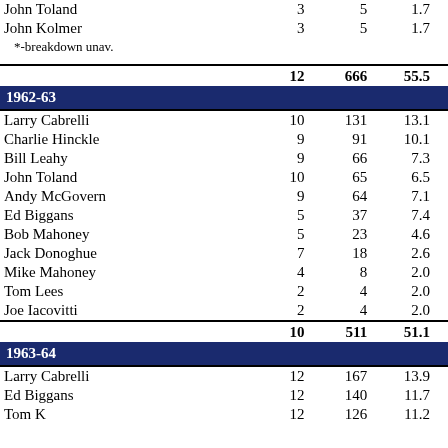| Name | G | Pts | Avg |
| --- | --- | --- | --- |
| John Toland | 3 | 5 | 1.7 |
| John Kolmer | 3 | 5 | 1.7 |
| *-breakdown unav. |  |  |  |
|  | 12 | 666 | 55.5 |
| 1962-63 |  |  |  |
| Larry Cabrelli | 10 | 131 | 13.1 |
| Charlie Hinckle | 9 | 91 | 10.1 |
| Bill Leahy | 9 | 66 | 7.3 |
| John Toland | 10 | 65 | 6.5 |
| Andy McGovern | 9 | 64 | 7.1 |
| Ed Biggans | 5 | 37 | 7.4 |
| Bob Mahoney | 5 | 23 | 4.6 |
| Jack Donoghue | 7 | 18 | 2.6 |
| Mike Mahoney | 4 | 8 | 2.0 |
| Tom Lees | 2 | 4 | 2.0 |
| Joe Iacovitti | 2 | 4 | 2.0 |
|  | 10 | 511 | 51.1 |
| 1963-64 |  |  |  |
| Larry Cabrelli | 12 | 167 | 13.9 |
| Ed Biggans | 12 | 140 | 11.7 |
| Tom K... | 12 | 126 | 11.2 |